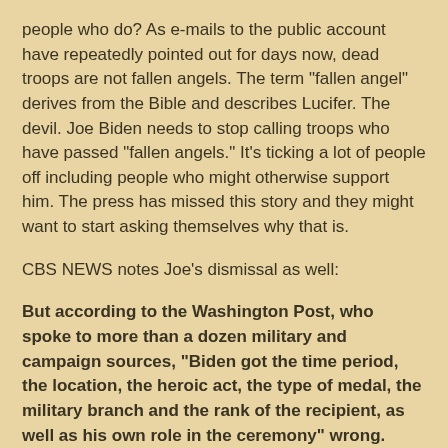people who do?  As e-mails to the public account have repeatedly pointed out for days now, dead troops are not fallen angels.  The term "fallen angel" derives from the Bible and describes Lucifer.  The devil.  Joe Biden needs to stop calling troops who have passed "fallen angels."  It's ticking a lot of people off including people who might otherwise support him.  The press has missed this story and they might want to start asking themselves why that is.
CBS NEWS notes Joe's dismissal as well:
But according to the Washington Post, who spoke to more than a dozen military and campaign sources, "Biden got the time period, the location, the heroic act, the type of medal, the military branch and the rank of the recipient, as well as his own role in the ceremony" wrong.
[. . .]
In an interview Thursday, Biden called the criticisms "ridiculous," saying, "...The central point is it was absolutely accurate what I said ... The story was that he refused the medal because the fella he tried to save, and